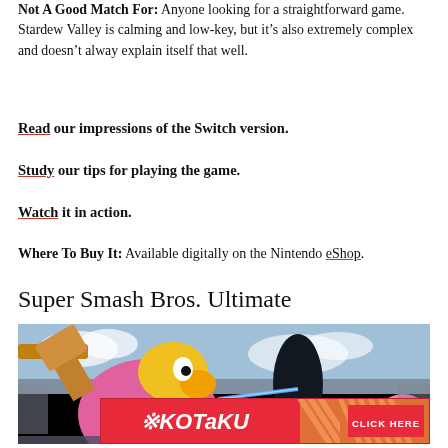Not A Good Match For: Anyone looking for a straightforward game. Stardew Valley is calming and low-key, but it's also extremely complex and doesn't alway explain itself that well.
Read our impressions of the Switch version.
Study our tips for playing the game.
Watch it in action.
Where To Buy It: Available digitally on the Nintendo eShop.
Super Smash Bros. Ultimate
[Figure (photo): Screenshot of Super Smash Bros. Ultimate showing King Dedede and other characters fighting on a stage]
[Figure (other): Kotaku advertisement banner with CLICK HERE call to action]